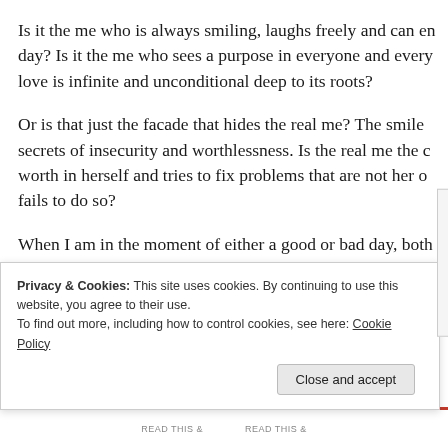Is it the me who is always smiling, laughs freely and can en day? Is it the me who sees a purpose in everyone and every love is infinite and unconditional deep to its roots?
Or is that just the facade that hides the real me? The smile secrets of insecurity and worthlessness. Is the real me the c worth in herself and tries to fix problems that are not her o fails to do so?
When I am in the moment of either a good or bad day, both more real than the other. So which is it?
I need to figure it out.
Privacy & Cookies: This site uses cookies. By continuing to use this website, you agree to their use.
To find out more, including how to control cookies, see here: Cookie Policy
Close and accept